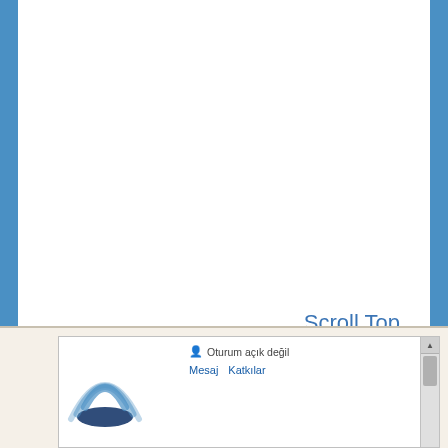Scroll Top
[Figure (screenshot): Screenshot of a webpage showing a logo with blue wifi-like signal arcs and a navigation menu with 'Oturum açık değil', 'Mesaj', 'Katkılar' items and a scrollbar]